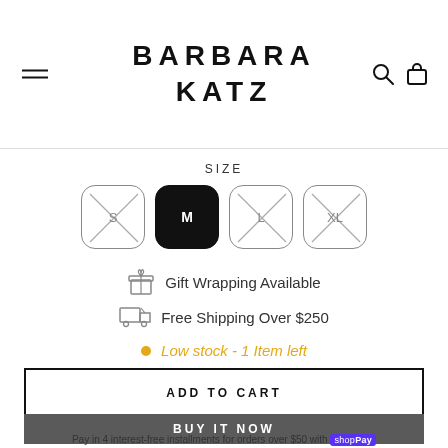BARBARA KATZ
SIZE
Size options: S (unavailable), M (selected), L (unavailable), XL (unavailable)
Gift Wrapping Available
Free Shipping Over $250
Low stock - 1 Item left
ADD TO CART
BUY IT NOW
Pay in 4 interest-free installments for orders over $50 with shop Pay